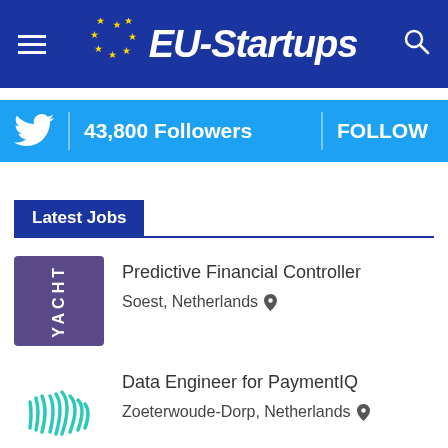EU-Startups
[Figure (infographic): Twitter follow banner showing 43,800 Followers and FOLLOW button on cyan background]
Latest Jobs
[Figure (logo): YACHT company logo, purple square with white vertical text]
Predictive Financial Controller
Soest, Netherlands
[Figure (logo): Company logo with teal wave/grass lines]
Data Engineer for PaymentIQ
Zoeterwoude-Dorp, Netherlands